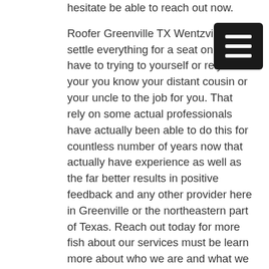hesitate be able to reach out now.
Roofer Greenville TX Wentzville to settle everything for a seat on exit have to trying to yourself or rely on your you know your distant cousin or your uncle to the job for you. That rely on some actual professionals have actually been able to do this for countless number of years now that actually have experience as well as the far better results in positive feedback and any other provider here in Greenville or the northeastern part of Texas. Reach out today for more fish about our services must be learn more about who we are and what we are able to do to be able to compete with the best of us. Is Monday for permission seeks if you have a compared other coat refers maybe you're talking to several others anyone to be able to know whether not to be blessed.
Is a waiter hesitate able to reach out to member